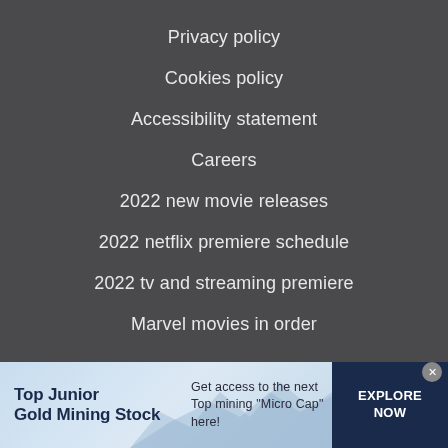Privacy policy
Cookies policy
Accessibility statement
Careers
2022 new movie releases
2022 netflix premiere schedule
2022 tv and streaming premiere
Marvel movies in order
[Figure (infographic): Advertisement banner for Top Junior Gold Mining Stock with light blue wave/mountain background, bold title on left, description text in center, and dark blue EXPLORE NOW button on right.]